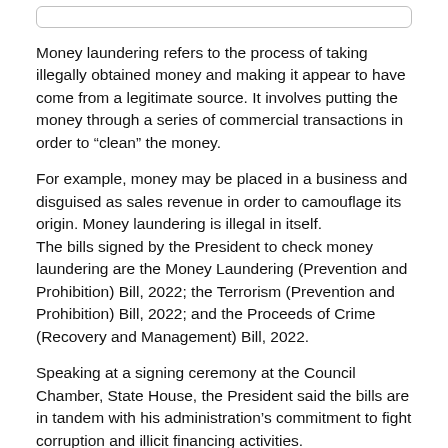Money laundering refers to the process of taking illegally obtained money and making it appear to have come from a legitimate source. It involves putting the money through a series of commercial transactions in order to “clean” the money.
For example, money may be placed in a business and disguised as sales revenue in order to camouflage its origin. Money laundering is illegal in itself.
The bills signed by the President to check money laundering are the Money Laundering (Prevention and Prohibition) Bill, 2022; the Terrorism (Prevention and Prohibition) Bill, 2022; and the Proceeds of Crime (Recovery and Management) Bill, 2022.
Speaking at a signing ceremony at the Council Chamber, State House, the President said the bills are in tandem with his administration’s commitment to fight corruption and illicit financing activities.